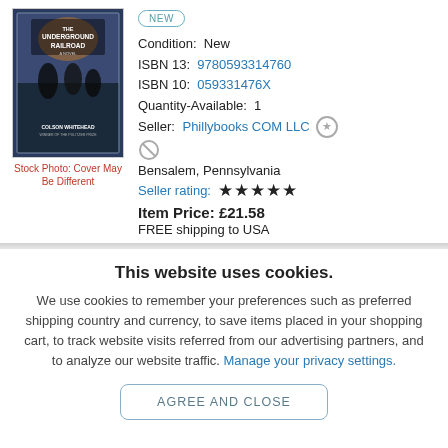[Figure (photo): Book cover of 'The Underground Railroad' by Colson Whitehead]
Stock Photo: Cover May Be Different
NEW
Condition: New
ISBN 13: 9780593314760
ISBN 10: 059331476X
Quantity-Available: 1
Seller: Phillybooks COM LLC
Bensalem, Pennsylvania
Seller rating: ★★★★★
Item Price: £21.58
FREE shipping to USA
This website uses cookies.
We use cookies to remember your preferences such as preferred shipping country and currency, to save items placed in your shopping cart, to track website visits referred from our advertising partners, and to analyze our website traffic. Manage your privacy settings.
AGREE AND CLOSE